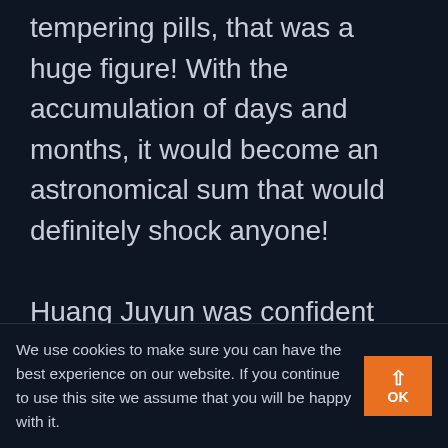tempering pills, that was a huge figure! With the accumulation of days and months, it would become an astronomical sum that would definitely shock anyone!

Huang Juyun was confident that with the sale of the new body tempering pill, the Huang family could surely rise to become one of the top clans in all of Hua Xia within three years!

At that time, Zhang Che would probably grow
We use cookies to make sure you can have the best experience on our website. If you continue to use this site we assume that you will be happy with it.